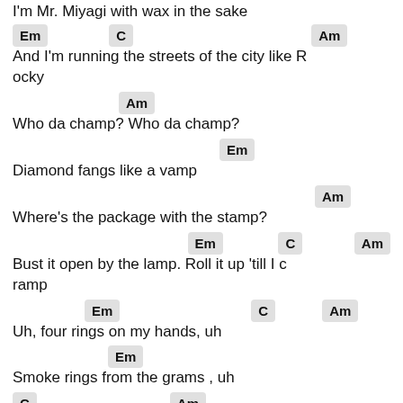I'm Mr. Miyagi with wax in the sake
[Em] [C] [Am] And I'm running the streets of the city like Rocky
[Am] Who da champ? Who da champ?
[Em] Diamond fangs like a vamp
[Am] Where's the package with the stamp?
[Em] [C] [Am] Bust it open by the lamp. Roll it up 'till I cramp
[Em] [C] [Am] Uh, four rings on my hands, uh
[Em] Smoke rings from the grams , uh
[C] [Am] Get a lady and a tramp